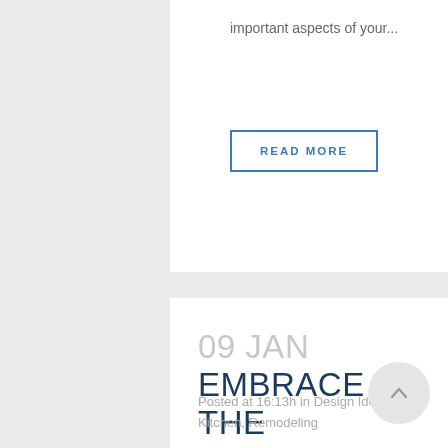important aspects of your...
READ MORE
09 JAN EMBRACE THE ENVIRONMENT IN YOUR KITCHEN REMODEL
Posted at 16:13h in Design Ideas, Kitchen, Remodeling